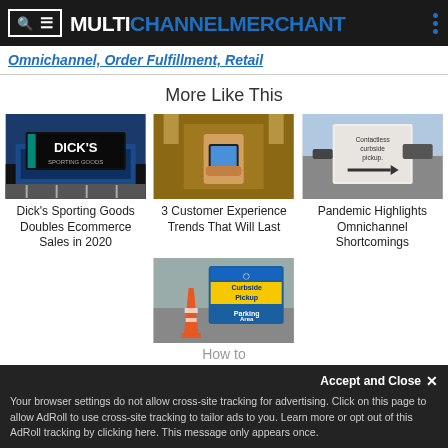MULTICHANNEL MERCHANT
Omnichannel, Order Fulfillment, Retail
More Like This
[Figure (photo): Dick's Sporting Goods store front exterior at night]
Dick's Sporting Goods Doubles Ecommerce Sales in 2020
[Figure (photo): Person holding a smartphone tablet device]
3 Customer Experience Trends That Will Last
[Figure (photo): Contactless curbside pickup sign with arrow]
Pandemic Highlights Omnichannel Shortcomings
[Figure (photo): Curbside Pickup Parking Area sign]
How to
Your browser settings do not allow cross-site tracking for advertising. Click on this page to allow AdRoll to use cross-site tracking to tailor ads to you. Learn more or opt out of this AdRoll tracking by clicking here. This message only appears once.